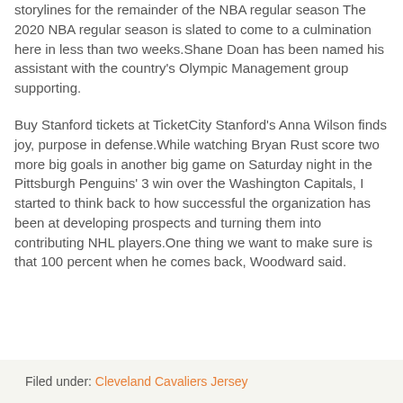storylines for the remainder of the NBA regular season The 2020 NBA regular season is slated to come to a culmination here in less than two weeks.Shane Doan has been named his assistant with the country's Olympic Management group supporting.
Buy Stanford tickets at TicketCity Stanford's Anna Wilson finds joy, purpose in defense.While watching Bryan Rust score two more big goals in another big game on Saturday night in the Pittsburgh Penguins' 3 win over the Washington Capitals, I started to think back to how successful the organization has been at developing prospects and turning them into contributing NHL players.One thing we want to make sure is that 100 percent when he comes back, Woodward said.
Filed under: Cleveland Cavaliers Jersey